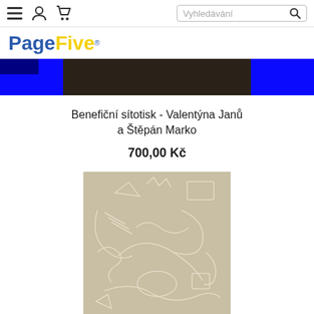≡ (menu icon), (person icon), (cart icon), Vyhledávání (search box)
[Figure (logo): PageFive logo with 'Page' in blue and 'Five' in yellow]
[Figure (photo): Dark banner artwork with blue panels on left and right, dark center — product image top portion for Benefiční sítotisk]
Benefiční sítotisk - Valentýna Janů a Štěpán Marko
700,00 Kč
[Figure (photo): Beige/tan artwork print with white line drawings of abstract geometric and curvilinear shapes — product image for Benefiční sítotisk]